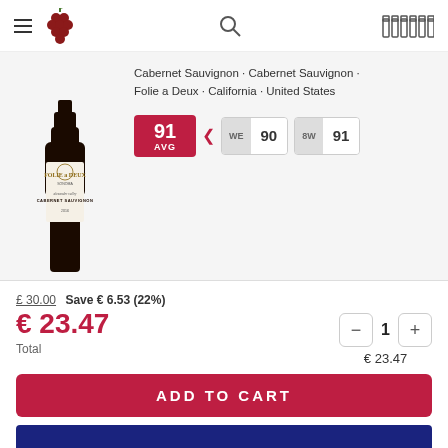Navigation header with menu, grape logo, search, and bottles icon
[Figure (photo): Wine bottle of Folie a Deux Cabernet Sauvignon, Alexander Valley]
Cabernet Sauvignon · Cabernet Sauvignon · Folie a Deux · California · United States
91 AVG | WE 90 | 8W 91
£ 30.00  Save € 6.53 (22%)
€ 23.47
Total
1  € 23.47
ADD TO CART